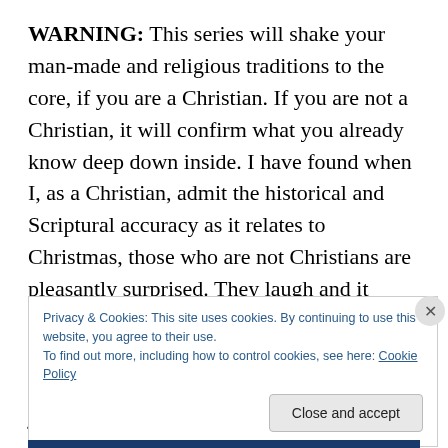WARNING: This series will shake your man-made and religious traditions to the core, if you are a Christian. If you are not a Christian, it will confirm what you already know deep down inside. I have found when I, as a Christian, admit the historical and Scriptural accuracy as it relates to Christmas, those who are not Christians are pleasantly surprised. They laugh and it creates an open dialogue. When pagans, witches, Hindus, Buddhists, Satanists, etc run into His unconditional love that is joined with a serving of His Truth, I'm seeing walls come down and His light and
Privacy & Cookies: This site uses cookies. By continuing to use this website, you agree to their use.
To find out more, including how to control cookies, see here: Cookie Policy